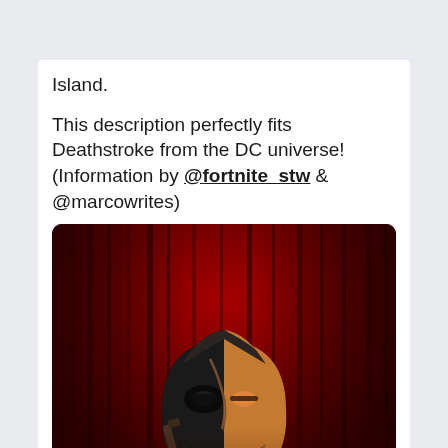Island.
This description perfectly fits Deathstroke from the DC universe! (Information by @fortnite_stw & @marcowrites)
[Figure (illustration): Deathstroke character illustration from the DC universe, showing the masked character in half-black half-orange/gold helmet with a scar, holding a weapon, against a dark red background with vertical streaks]